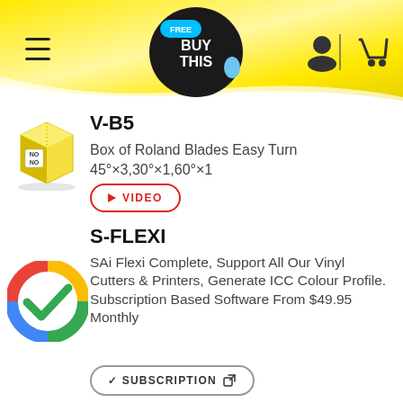[Figure (logo): BuyThis website header with yellow gradient background, hamburger menu, BuyThis logo (dark speech bubble with FREE tag), user icon, and shopping cart icon]
[Figure (illustration): Yellow box with NO label, product illustration]
V-B5
Box of Roland Blades Easy Turn 45°×3,30°×1,60°×1
▶ VIDEO
[Figure (logo): Google-style colorful checkmark circle logo for S-FLEXI / SAi Flexi software]
S-FLEXI
SAi Flexi Complete, Support All Our Vinyl Cutters & Printers, Generate ICC Colour Profile. Subscription Based Software From $49.95 Monthly
✓ SUBSCRIPTION ⧉